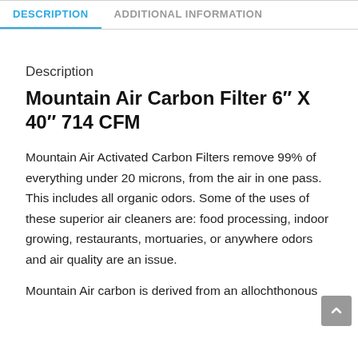DESCRIPTION
ADDITIONAL INFORMATION
Description
Mountain Air Carbon Filter 6″ X 40″ 714 CFM
Mountain Air Activated Carbon Filters remove 99% of everything under 20 microns, from the air in one pass. This includes all organic odors. Some of the uses of these superior air cleaners are: food processing, indoor growing, restaurants, mortuaries, or anywhere odors and air quality are an issue.
Mountain Air carbon is derived from an allochthonous